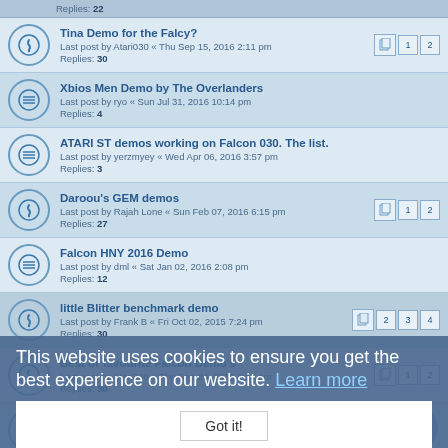Replies: 22
Tina Demo for the Falcy? — Last post by Atari030 « Thu Sep 15, 2016 2:11 pm — Replies: 30
Xbios Men Demo by The Overlanders — Last post by ryo « Sun Jul 31, 2016 10:14 pm — Replies: 4
ATARI ST demos working on Falcon 030. The list. — Last post by yerzmyey « Wed Apr 06, 2016 3:57 pm — Replies: 3
Daroou's GEM demos — Last post by Rajah Lone « Sun Feb 07, 2016 6:15 pm — Replies: 27
Falcon HNY 2016 Demo — Last post by dml « Sat Jan 02, 2016 2:08 pm — Replies: 12
little Blitter benchmark demo — Last post by Frank B « Fri Oct 02, 2015 7:24 pm — Replies: 30 (pages 1 2 3 4)
Best or favourite Falcon Demo's — Last post by Atari030 « Thu Sep 24, 2015 1:11 am — Replies: 30 (pages 1 2)
Street Art, Japan Beauties.... 4Mo STe demos — Last post by DataPro « Fri Jul 17, 2015 12:26 pm — Replies: 4
This website uses cookies to ensure you get the best experience on our website. Learn more
Got it!